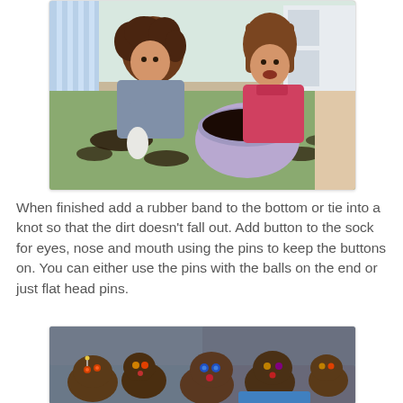[Figure (photo): Two young girls at a table with a bowl of dark soil/dirt, one pouring soil from a sock into a bowl, the other watching with mouth open.]
When finished add a rubber band to the bottom or tie into a knot so that the dirt doesn't fall out. Add button to the sock for eyes, nose and mouth using the pins to keep the buttons on. You can either use the pins with the balls on the end or just flat head pins.
[Figure (photo): Several brown sock creatures with colorful button eyes and pins arranged together, resembling small animal or monster figures made from dirt-filled socks.]